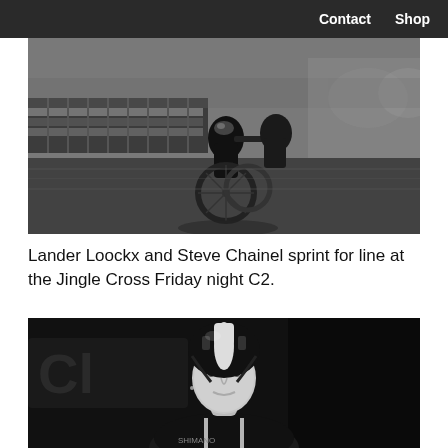Contact  Shop
[Figure (photo): Black and white photo of cyclists sprinting for the finish line at a cyclocross race, with barriers and spectators in the background.]
Lander Loockx and Steve Chainel sprint for line at the Jingle Cross Friday night C2.
[Figure (photo): Black and white close-up portrait of a female cyclist wearing a black and white helmet and team jersey, smiling slightly.]